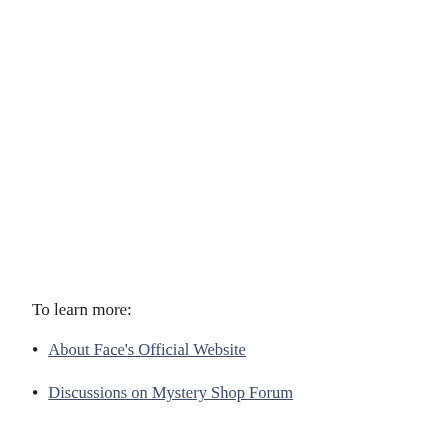To learn more:
About Face's Official Website
Discussions on Mystery Shop Forum